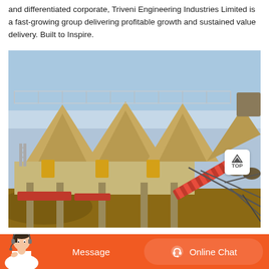and differentiated corporate, Triveni Engineering Industries Limited is a fast-growing group delivering profitable growth and sustained value delivery. Built to Inspire.
[Figure (photo): Industrial photo of large jaw crushers or aggregate crushing equipment on a raised platform, with stone piles and conveyor belts in the foreground, against a blue sky.]
Message   Online Chat